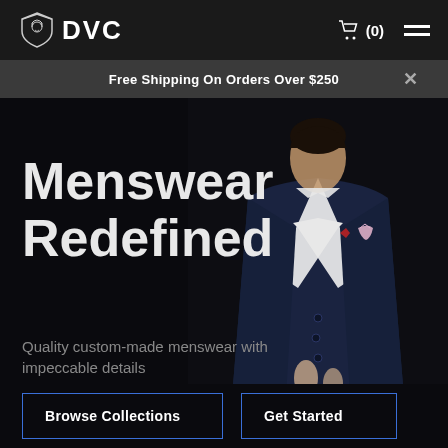DVC
Free Shipping On Orders Over $250
[Figure (photo): Man in a dark navy double-breasted suit with white shirt and floral pocket square, buttoning jacket against dark background]
Menswear Redefined
Quality custom-made menswear with impeccable details
Browse Collections
Get Started